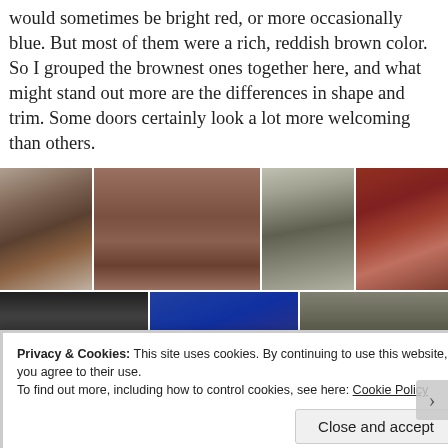would sometimes be bright red, or more occasionally blue. But most of them were a rich, reddish brown color. So I grouped the brownest ones together here, and what might stand out more are the differences in shape and trim. Some doors certainly look a lot more welcoming than others.
[Figure (photo): Grid of photographs showing various Chinese doors in reddish-brown, dark wood, and red colors, some with traditional decorations]
Privacy & Cookies: This site uses cookies. By continuing to use this website, you agree to their use.
To find out more, including how to control cookies, see here: Cookie Policy